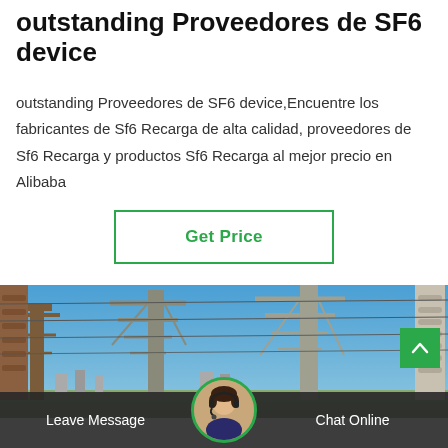outstanding Proveedores de SF6 device
outstanding Proveedores de SF6 device,Encuentre los fabricantes de Sf6 Recarga de alta calidad, proveedores de Sf6 Recarga y productos Sf6 Recarga al mejor precio en Alibaba
[Figure (other): Green bordered button with text 'Get Price']
[Figure (photo): Electrical substation with high-voltage transmission towers and equipment against a blue sky]
[Figure (other): Bottom navigation bar with 'Leave Message' on the left, a customer service avatar in the center, and 'Chat Online' on the right. A green scroll-to-top arrow button appears over the photo in the bottom right.]